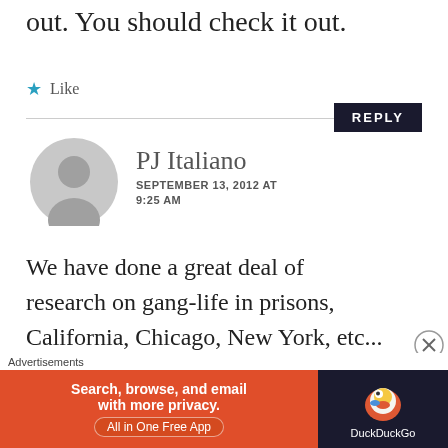out. You should check it out.
★ Like
REPLY
PJ Italiano
SEPTEMBER 13, 2012 AT 9:25 AM
[Figure (illustration): Generic user avatar: gray circle with silhouette of person]
We have done a great deal of research on gang-life in prisons, California, Chicago, New York, etc...
Advertisements
[Figure (infographic): DuckDuckGo advertisement banner: orange left side with text 'Search, browse, and email with more privacy. All in One Free App', dark right side with DuckDuckGo logo]